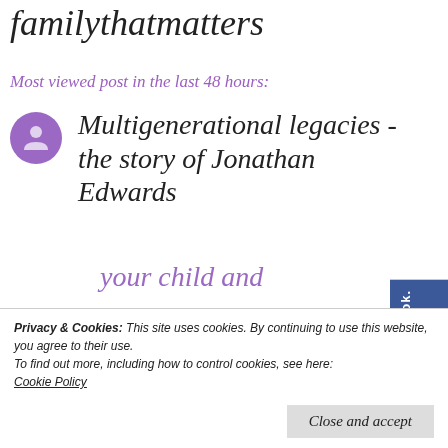familythatmatters
Most viewed post in the last 48 hours:
Multigenerational legacies - the story of Jonathan Edwards
Characteristics of a shame based family
Privacy & Cookies: This site uses cookies. By continuing to use this website, you agree to their use. To find out more, including how to control cookies, see here: Cookie Policy
Close and accept
your child and